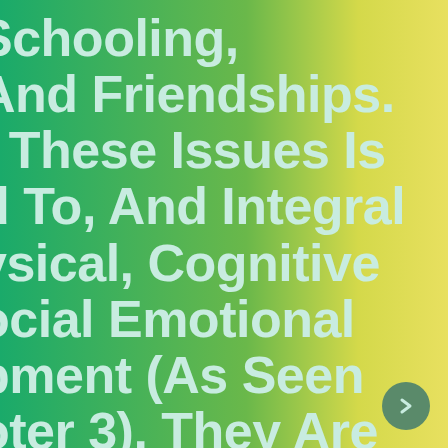Schooling, And Friendships. f These Issues Is d To, And Integral ysical, Cognitive ocial Emotional pment (As Seen oter 3). They Are pecific To uals And Their Contexts Of g And
[Figure (other): Navigation arrow button circle in dark green]